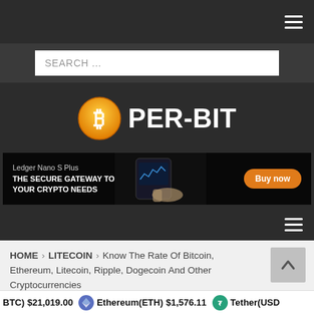Navigation bar with hamburger menu
SEARCH ...
[Figure (logo): PER-BIT logo with Bitcoin orange circle icon and white bold text PER-BIT]
[Figure (infographic): Ledger Nano S Plus advertisement banner: 'THE SECURE GATEWAY TO YOUR CRYPTO NEEDS' with Buy now button]
Bottom navigation bar with hamburger menu
HOME > LITECOIN > Know The Rate Of Bitcoin, Ethereum, Litecoin, Ripple, Dogecoin And Other Cryptocurrencies
(BTC) $21,019.00   Ethereum(ETH) $1,576.11   Tether(USD...